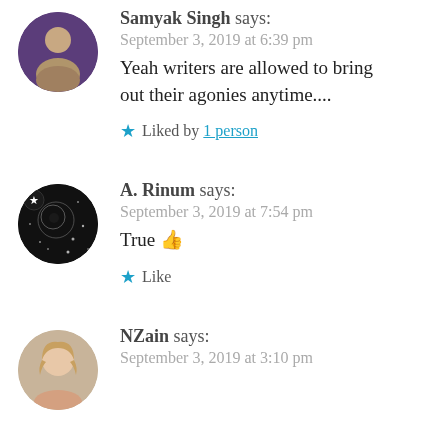Samyak Singh says: September 3, 2019 at 6:39 pm
Yeah writers are allowed to bring out their agonies anytime....
Liked by 1 person
A. Rinum says: September 3, 2019 at 7:54 pm
True 👍
Like
NZain says: September 3, 2019 at 3:10 pm